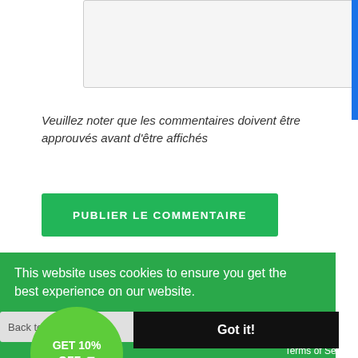[Figure (screenshot): A light grey textarea input box with resize handle at bottom-right, partially visible at top of page.]
Veuillez noter que les commentaires doivent être approuvés avant d'être affichés
[Figure (screenshot): Green button labeled 'PUBLIER LE COMMENTAIRE']
This website uses cookies to ensure you get the best experience on our website.
Learn More
Back to the top
Got it!
GET 10% OFF 🏷
ons Inc. Terms of Service